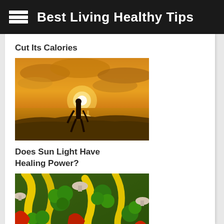Best Living Healthy Tips
Cut Its Calories
[Figure (photo): Silhouette of a person standing on rocky shore at sunset with golden sky and ocean in background]
Does Sun Light Have Healing Power?
[Figure (photo): Close-up of a colorful mix of fresh vegetables including yellow bell peppers, broccoli, red peppers, and mushrooms]